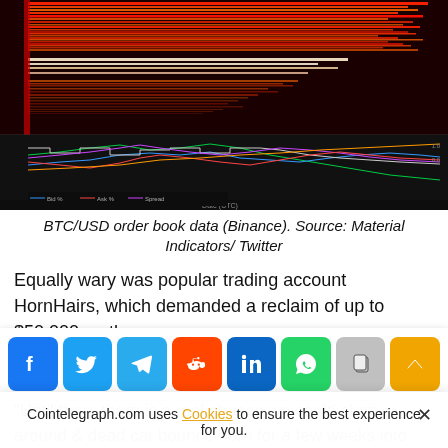[Figure (continuous-plot): BTC/USD order book data chart from Binance showing horizontal red/orange heatmap bars at top and multi-line chart with green, blue, red, orange, purple lines on dark background below]
BTC/USD order book data (Binance). Source: Material Indicators/ Twitter
Equally wary was popular trading account HornHairs, which demanded a reclaim of up to $50,000 on the week
[Figure (infographic): Social media share buttons row: Facebook, Twitter, Telegram, Reddit, LinkedIn, WhatsApp, Copy, Scroll-to-top]
"Until then, there is a real chance we could chop around & dead cat bounce here for a few weeks into another flush down to $20k or so for a bottom," a recent tweet read
Cointelegraph.com uses Cookies to ensure the best experience for you.